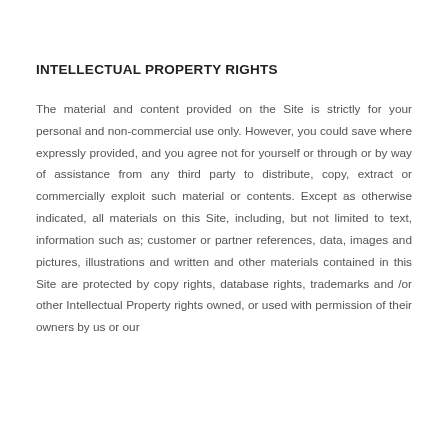INTELLECTUAL PROPERTY RIGHTS
The material and content provided on the Site is strictly for your personal and non-commercial use only. However, you could save where expressly provided, and you agree not for yourself or through or by way of assistance from any third party to distribute, copy, extract or commercially exploit such material or contents. Except as otherwise indicated, all materials on this Site, including, but not limited to text, information such as; customer or partner references, data, images and pictures, illustrations and written and other materials contained in this Site are protected by copy rights, database rights, trademarks and /or other Intellectual Property rights owned, or used with permission of their owners by us or our